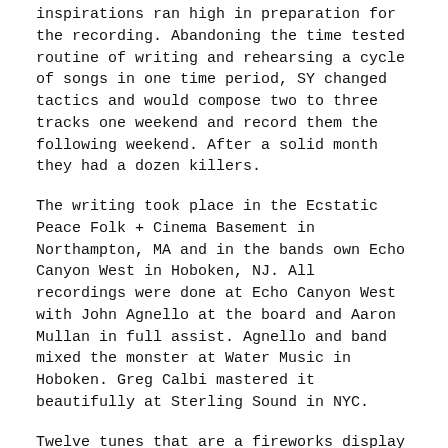inspirations ran high in preparation for the recording. Abandoning the time tested routine of writing and rehearsing a cycle of songs in one time period, SY changed tactics and would compose two to three tracks one weekend and record them the following weekend. After a solid month they had a dozen killers.
The writing took place in the Ecstatic Peace Folk + Cinema Basement in Northampton, MA and in the bands own Echo Canyon West in Hoboken, NJ. All recordings were done at Echo Canyon West with John Agnello at the board and Aaron Mullan in full assist. Agnello and band mixed the monster at Water Music in Hoboken. Greg Calbi mastered it beautifully at Sterling Sound in NYC.
Twelve tunes that are a fireworks display of Sonic Youth touchstones. From the primal nowave attack of its earliest days, to the radical chording and song structures of its 90s period, to the more focused and contemporary explorations of the last five years.
Sacred Trickster (2:10): Out-of-the gate hardcore matinee track with Kim singing salutes to French painter